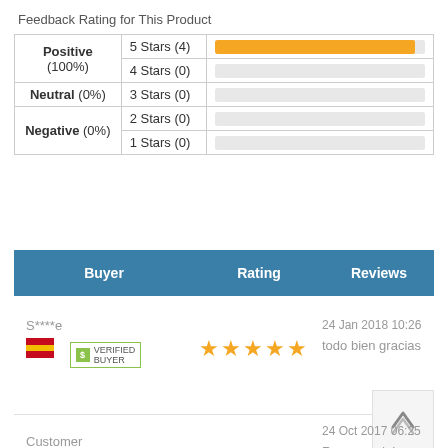Feedback Rating for This Product
|  | Stars | Bar |
| --- | --- | --- |
| Positive (100%) | 5 Stars (4) | full |
| Positive (100%) | 4 Stars (0) | empty |
| Neutral (0%) | 3 Stars (0) | empty |
| Negative (0%) | 2 Stars (0) | empty |
| Negative (0%) | 1 Stars (0) | empty |
| Buyer | Rating | Reviews |
| --- | --- | --- |
S****e
[Figure (infographic): Spain flag icon]
VERIFIED BUYER
[Figure (infographic): 5 orange stars rating]
24 Jan 2018 10:26
todo bien gracias
Customer
24 Oct 2017 06:25
Recomendo!
[Figure (infographic): 4+ orange stars rating]